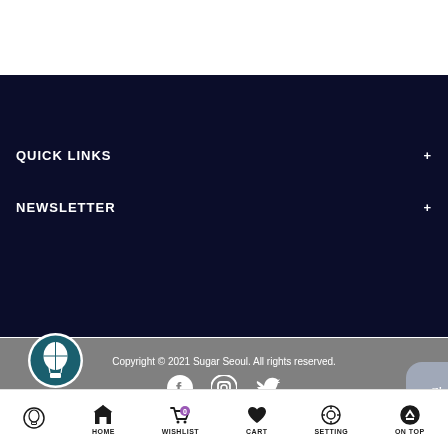QUICK LINKS
NEWSLETTER
Copyright © 2021 Sugar Seoul. All rights reserved.
[Figure (illustration): Social media icons: Facebook, Instagram, Twitter in white on gray background]
[Figure (logo): Hot air balloon logo in teal/dark teal circle]
HOME    WISHLIST    CART    SETTING    ON TOP